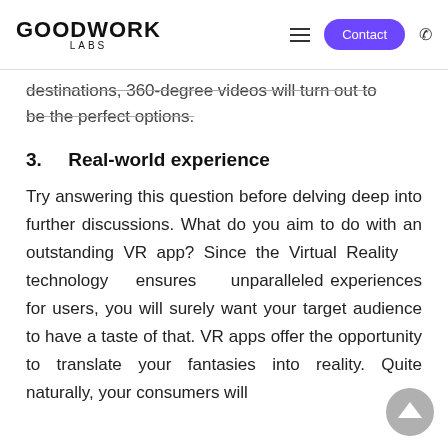GOODWORK LABS
destinations, 360-degree videos will turn out to be the perfect options.
3.  Real-world experience
Try answering this question before delving deep into further discussions. What do you aim to do with an outstanding VR app? Since the Virtual Reality technology ensures unparalleled experiences for users, you will surely want your target audience to have a taste of that. VR apps offer the opportunity to translate your fantasies into reality. Quite naturally, your consumers will